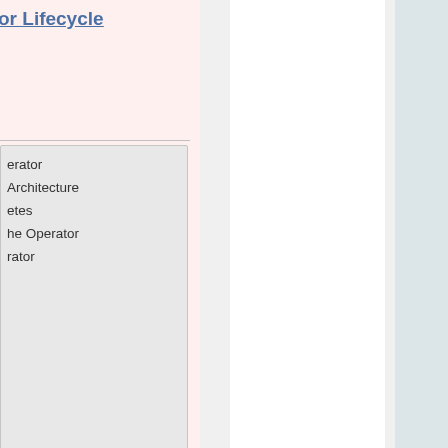or Lifecycle
erator
Architecture
etes
he Operator
rator
nux 8 STIG
government gies that rkloads into hreats to continue to r basis. To plications exploits to
ernment nterprise